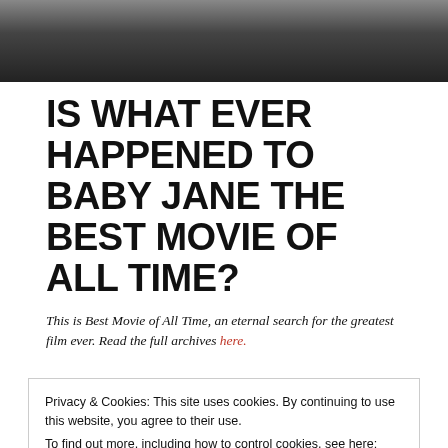[Figure (photo): Black and white photograph showing a person, cropped at top, dark tones]
IS WHAT EVER HAPPENED TO BABY JANE THE BEST MOVIE OF ALL TIME?
This is Best Movie of All Time, an eternal search for the greatest film ever. Read the full archives here.
Privacy & Cookies: This site uses cookies. By continuing to use this website, you agree to their use.
To find out more, including how to control cookies, see here: Cookie Policy
Close and accept
demands further: “We beg you, as the tension builds to the